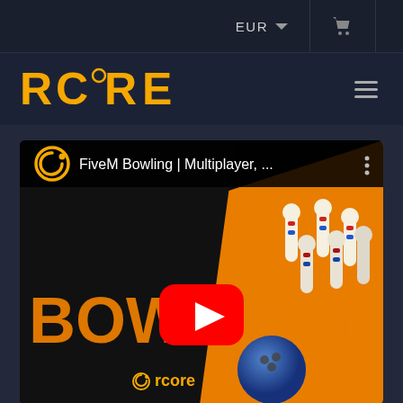EUR ▾  🛒
[Figure (logo): RCºRE logo in orange on dark background]
[Figure (screenshot): YouTube video thumbnail for 'FiveM Bowling | Multiplayer, ...' showing bowling pins and ball with BOWLING text and rcore branding, with YouTube play button overlay]